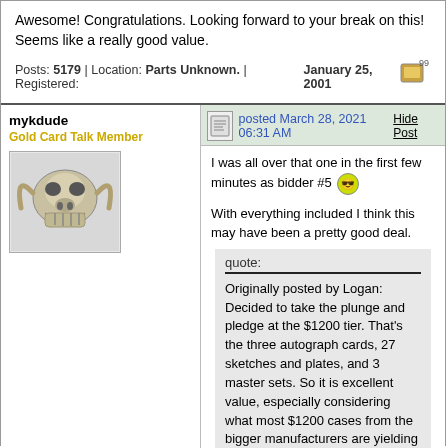Awesome! Congratulations. Looking forward to your break on this! Seems like a really good value.
Posts: 5179 | Location: Parts Unknown. | Registered: January 25, 2001
mykdude
Gold Card Talk Member
posted March 28, 2021 06:31 AM
Hide Post
I was all over that one in the first few minutes as bidder #5 [emoji]
With everything included I think this may have been a pretty good deal.
quote:
Originally posted by Logan:
Decided to take the plunge and pledge at the $1200 tier. That's the three autograph cards, 27 sketches and plates, and 3 master sets. So it is excellent value, especially considering what most $1200 cases from the bigger manufacturers are yielding these days. [emoji] This will be my first ever purchase from RRParks and my first ever kickstarter pledge in general. But I'm